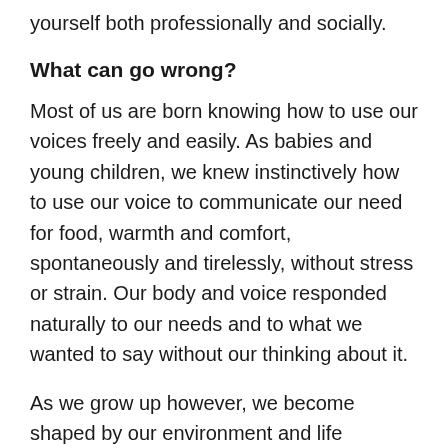yourself both professionally and socially.
What can go wrong?
Most of us are born knowing how to use our voices freely and easily. As babies and young children, we knew instinctively how to use our voice to communicate our need for food, warmth and comfort, spontaneously and tirelessly, without stress or strain. Our body and voice responded naturally to our needs and to what we wanted to say without our thinking about it.
As we grow up however, we become shaped by our environment and life experiences. School, college and the workplace all leave impressions on us which, if negative or restrictive, can slowly rob us of our natural freedom of speech and expression, cutting us off from